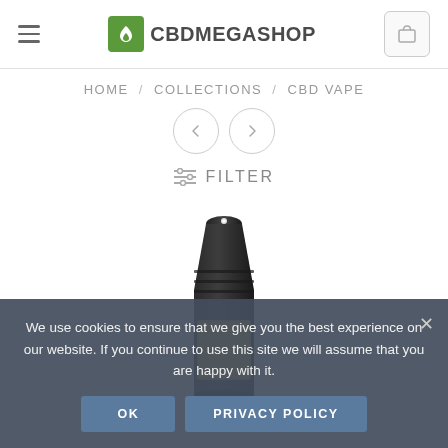CBDMEGASHOP
HOME / COLLECTIONS / CBD VAPE
[Figure (screenshot): Navigation arrows (left/right) and filter button for CBD Vape collection page]
[Figure (photo): CBD vape product image - dark colored vape device]
We use cookies to ensure that we give you the best experience on our website. If you continue to use this site we will assume that you are happy with it.
OK   PRIVACY POLICY